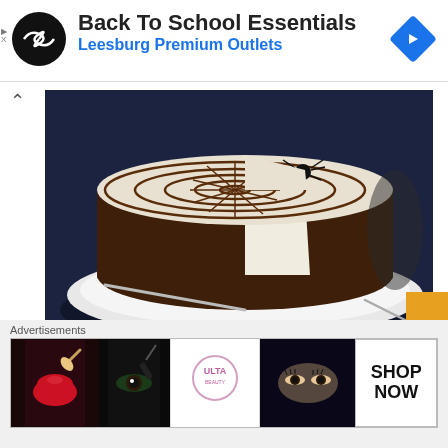[Figure (screenshot): Advertisement banner for 'Back To School Essentials' at Leesburg Premium Outlets with a circular logo on the left and a blue diamond navigation arrow on the right.]
[Figure (photo): A spider web decorated cheesecake with a chocolate crust, a slice removed, sitting on a white plate with a dark blue background and a decorative spider on top.]
TGON Bakes: The Girl In The Spider's Web Cheesecake
September 21, 2018
Advertisements
[Figure (screenshot): ULTA Beauty advertisement banner showing makeup-themed images (lips, brushes, eyes) with 'SHOP NOW' text on the right.]